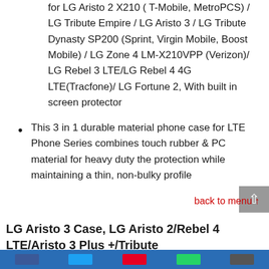for LG Aristo 2 X210 ( T-Mobile, MetroPCS) / LG Tribute Empire / LG Aristo 3 / LG Tribute Dynasty SP200 (Sprint, Virgin Mobile, Boost Mobile) / LG Zone 4 LM-X210VPP (Verizon)/ LG Rebel 3 LTE/LG Rebel 4 4G LTE(Tracfone)/ LG Fortune 2, With built in screen protector
This 3 in 1 durable material phone case for LTE Phone Series combines touch rubber & PC material for heavy duty the protection while maintaining a thin, non-bulky profile
back to menu ↑
LG Aristo 3 Case, LG Aristo 2/Rebel 4 LTE/Aristo 3 Plus +/Tribute Empire&Dynasty/LG K8S/Zone 4/Aristo 2